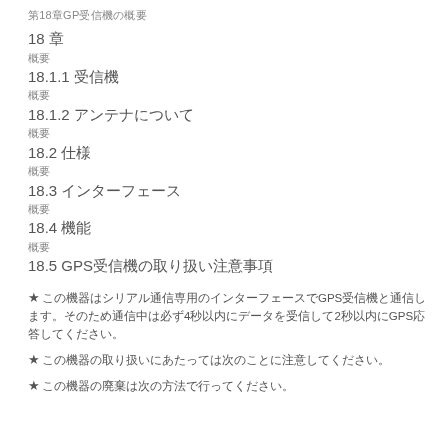第18章 GPS受信機の概要
18 章
概要
18.1.1 受信機
概要
18.1.2 アンテナについて
概要
18.2 仕様
概要
18.3 インターフェース
概要
18.4 機能
概要
18.5 GPS受信機の取り扱い注意事項
★この機器はシリアル通信専用のインターフェースでGPS受信機と通信します。そのため通信中は必ず4秒以内にデータを受信して2秒以内にGPS応答してください。
★この機器の取り扱いにあたっては次のことに注意してください。
★この機器の廃棄は次の方法で行ってください。